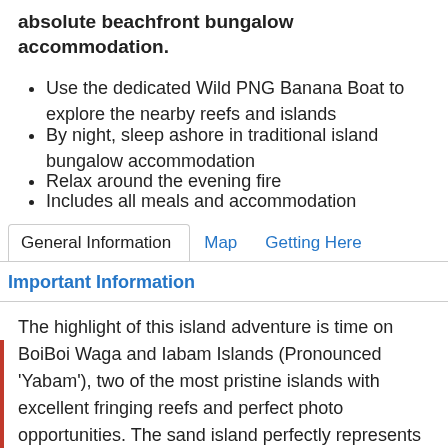absolute beachfront bungalow accommodation.
Use the dedicated Wild PNG Banana Boat to explore the nearby reefs and islands
By night, sleep ashore in traditional island bungalow accommodation
Relax around the evening fire
Includes all meals and accommodation
General Information | Map | Getting Here
Important Information
The highlight of this island adventure is time on BoiBoi Waga and Iabam Islands (Pronounced 'Yabam'), two of the most pristine islands with excellent fringing reefs and perfect photo opportunities. The sand island perfectly represents what a tropical island is, with coconut palms hanging over the